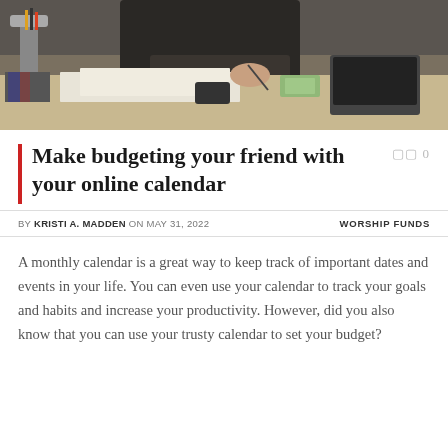[Figure (photo): Person in dark clothing writing on papers at a desk with a laptop, calculator, money, and office supplies visible]
Make budgeting your friend with your online calendar
BY KRISTI A. MADDEN ON MAY 31, 2022   WORSHIP FUNDS
A monthly calendar is a great way to keep track of important dates and events in your life. You can even use your calendar to track your goals and habits and increase your productivity. However, did you also know that you can use your trusty calendar to set your budget?